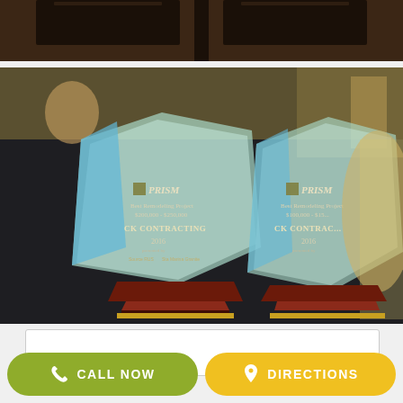[Figure (photo): Top partial photo showing dark wood surface with dark objects, cropped view.]
[Figure (photo): Two PRISM glass awards on a dark tablecloth at a banquet setting. Left award reads: PRISM, Best Remodeling Project $200,000 - $250,000, CK CONTRACTING, 2016. Right award reads: PRISM, Best Remodeling Project $100,000 - $150,000, CK CONTRACTING, 2016.]
[Figure (other): White rectangular box placeholder area.]
CALL NOW
DIRECTIONS